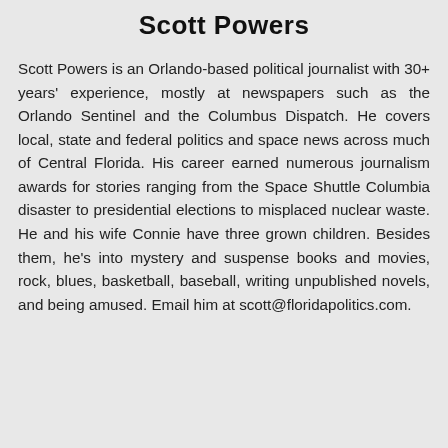Scott Powers
Scott Powers is an Orlando-based political journalist with 30+ years' experience, mostly at newspapers such as the Orlando Sentinel and the Columbus Dispatch. He covers local, state and federal politics and space news across much of Central Florida. His career earned numerous journalism awards for stories ranging from the Space Shuttle Columbia disaster to presidential elections to misplaced nuclear waste. He and his wife Connie have three grown children. Besides them, he's into mystery and suspense books and movies, rock, blues, basketball, baseball, writing unpublished novels, and being amused. Email him at scott@floridapolitics.com.